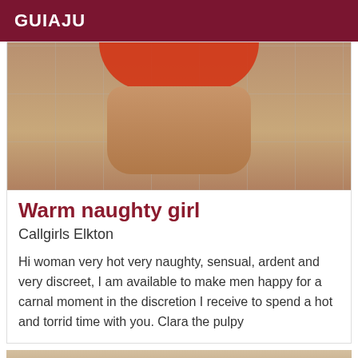GUIAJU
[Figure (photo): Photo of a woman kneeling on a tiled floor wearing a red outfit, cropped to show lower body]
Warm naughty girl
Callgirls Elkton
Hi woman very hot very naughty, sensual, ardent and very discreet, I am available to make men happy for a carnal moment in the discretion I receive to spend a hot and torrid time with you. Clara the pulpy
[Figure (photo): Photo of a dark-haired woman, partially visible, with a 'Verified' badge in the top right corner]